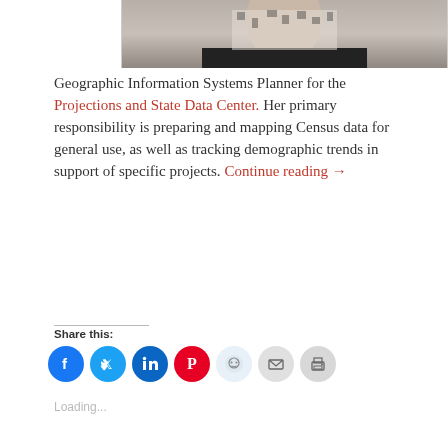[Figure (photo): Partial photo of a woman visible at top of page, cropped showing upper body with black and white patterned top]
Geographic Information Systems Planner for the Projections and State Data Center. Her primary responsibility is preparing and mapping Census data for general use, as well as tracking demographic trends in support of specific projects. Continue reading →
Share this:
[Figure (infographic): Social share buttons: Facebook (blue circle), Twitter (cyan circle), LinkedIn (teal circle), Pinterest (red circle), Reddit (light blue circle), Email (light gray circle), Print (gray circle)]
Loading...